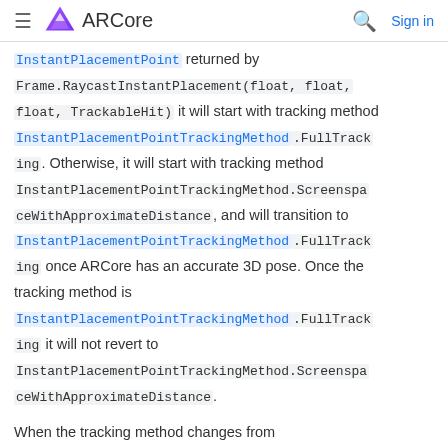ARCore
InstantPlacementPoint returned by Frame.RaycastInstantPlacement(float, float, float, TrackableHit) it will start with tracking method InstantPlacementPointTrackingMethod.FullTracking. Otherwise, it will start with tracking method InstantPlacementPointTrackingMethod.ScreenspaceWithApproximateDistance, and will transition to InstantPlacementPointTrackingMethod.FullTracking once ARCore has an accurate 3D pose. Once the tracking method is InstantPlacementPointTrackingMethod.FullTracking it will not revert to InstantPlacementPointTrackingMethod.ScreenspaceWithApproximateDistance.
When the tracking method changes from InstantPlacementPointTrackingMethod.Screenspa